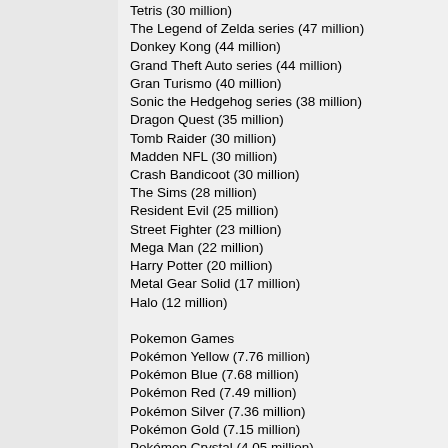Tetris (30 million)
The Legend of Zelda series (47 million)
Donkey Kong (44 million)
Grand Theft Auto series (44 million)
Gran Turismo (40 million)
Sonic the Hedgehog series (38 million)
Dragon Quest (35 million)
Tomb Raider (30 million)
Madden NFL (30 million)
Crash Bandicoot (30 million)
The Sims (28 million)
Resident Evil (25 million)
Street Fighter (23 million)
Mega Man (22 million)
Harry Potter (20 million)
Metal Gear Solid (17 million)
Halo (12 million)
Pokemon Games
Pokémon Yellow (7.76 million)
Pokémon Blue (7.68 million)
Pokémon Red (7.49 million)
Pokémon Silver (7.36 million)
Pokémon Gold (7.15 million)
Pokémon Crystal (4.05 million)
Pokémon Ruby (4.7 million) [92]
Pokémon Sapphire (4.3 million) [93]
Pokémon LeafGreen (3 million) [94]
Pokémon FireRed (3 million) [95]